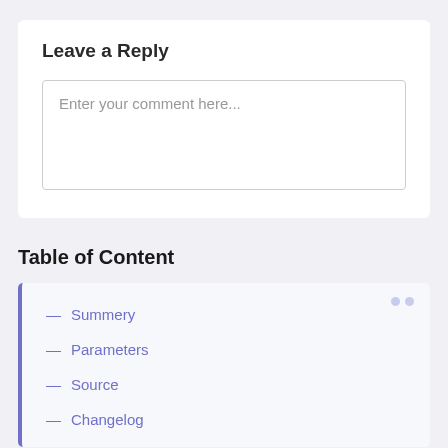Leave a Reply
Enter your comment here...
Table of Content
— Summery
— Parameters
— Source
— Changelog